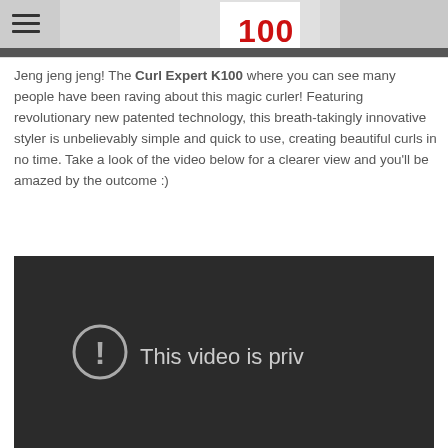[Figure (photo): Partial product image at top of page showing what appears to be a hair curler product with '100' visible in red text on white/red packaging, cropped at the top]
hamburger/menu icon (three horizontal lines)
Jeng jeng jeng! The Curl Expert K100 where you can see many people have been raving about this magic curler! Featuring revolutionary new patented technology, this breath-takingly innovative styler is unbelievably simple and quick to use, creating beautiful curls in no time. Take a look of the video below for a clearer view and you'll be amazed by the outcome :)
[Figure (screenshot): Embedded video player with dark background showing error state: circular exclamation mark icon and text 'This video is priv' (truncated, meaning 'This video is private')]